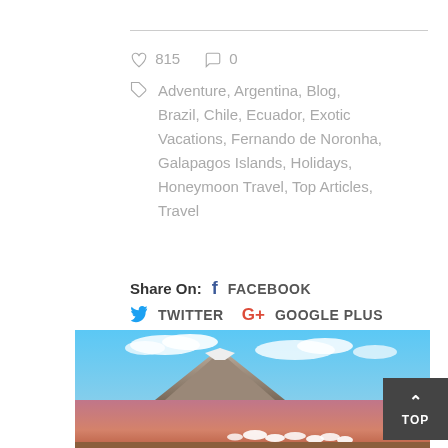815  0  Adventure, Argentina, Blog, Brazil, Chile, Ecuador, Exotic Vacations, Fernando de Noronha, Galapagos Islands, Holidays, Honeymoon Travel, Top Articles, Travel
Share On: FACEBOOK TWITTER GOOGLE PLUS PINTEREST
[Figure (photo): Photo of flamingos wading in a reddish-pink lake with a large snow-capped volcanic mountain in the background under a blue sky with clouds.]